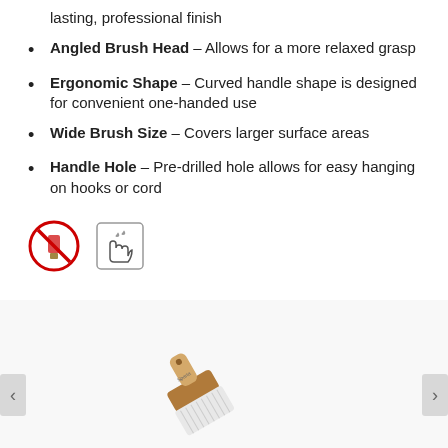lasting, professional finish
Angled Brush Head – Allows for a more relaxed grasp
Ergonomic Shape – Curved handle shape is designed for convenient one-handed use
Wide Brush Size – Covers larger surface areas
Handle Hole – Pre-drilled hole allows for easy hanging on hooks or cord
[Figure (infographic): Two icons: a red circle with a brush and a no symbol (prohibition), and a square icon showing a hand holding a brush]
Other Products from Sparta® Chef Series Brushes
[Figure (photo): A chef series brush with a tan/brown wooden handle and white bristles, shown at an angle against a white background, with navigation arrows on left and right]